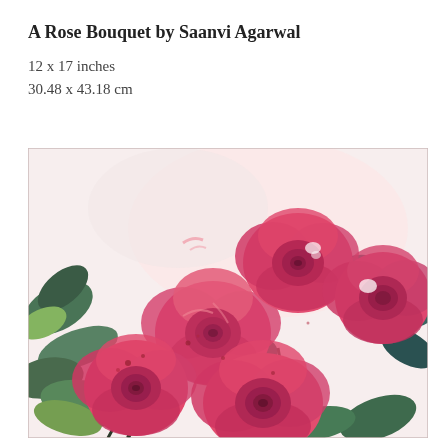A Rose Bouquet by Saanvi Agarwal
12 x 17 inches
30.48 x 43.18 cm
[Figure (illustration): Watercolor/acrylic painting of a rose bouquet featuring multiple large pink and red roses with dark green and teal leaves on a light background, cropped to show the lower and central portion of the arrangement.]